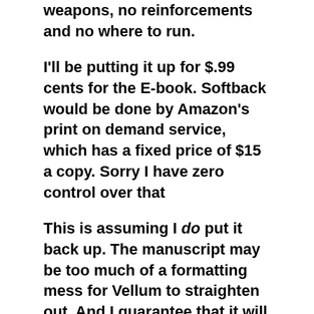weapons, no reinforcements and no where to run.
I'll be putting it up for $.99 cents for the E-book. Softback would be done by Amazon's print on demand service, which has a fixed price of $15 a copy. Sorry I have zero control over that
This is assuming I do put it back up. The manuscript may be too much of a formatting mess for Vellum to straighten out. And I guarantee that it will come riddled with punctuation errors.
Let me know in comments if you're interested.